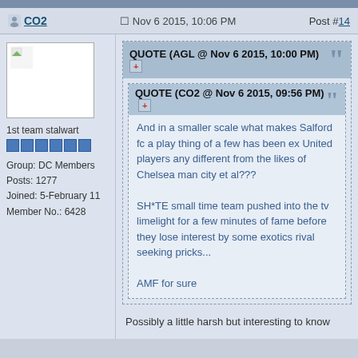CO2 | Nov 6 2015, 10:06 PM | Post #14
1st team stalwart
Group: DC Members
Posts: 1277
Joined: 5-February 11
Member No.: 6428
QUOTE (AGL @ Nov 6 2015, 10:00 PM)
QUOTE (CO2 @ Nov 6 2015, 09:56 PM)
And in a smaller scale what makes Salford fc a play thing of a few has been ex United players any different from the likes of Chelsea man city et al???

SH*TE small time team pushed into the tv limelight for a few minutes of fame before they lose interest by some exotics rival seeking pricks...

AMF for sure
Possibly a little harsh but interesting to know